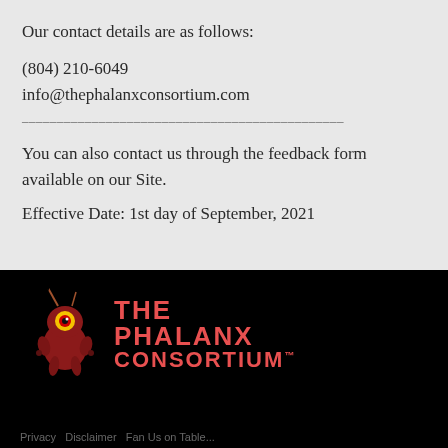Our contact details are as follows:
(804) 210-6049
info@thephalanxconsortium.com
——————————————————————————————————————
You can also contact us through the feedback form available on our Site.
Effective Date: 1st day of September, 2021
[Figure (logo): The Phalanx Consortium logo with red stylized creature mascot and bold red text reading THE PHALANX CONSORTIUM on black background]
Privacy   Disclaimer   Fan Us on Table...